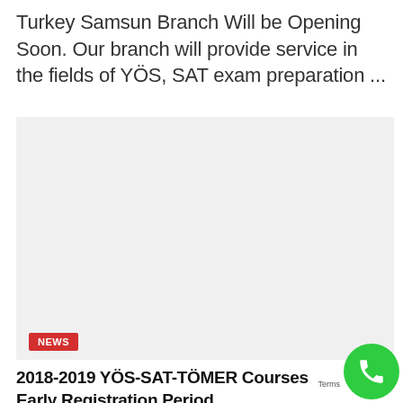Turkey Samsun Branch Will be Opening Soon. Our branch will provide service in the fields of YÖS, SAT exam preparation ...
[Figure (photo): Light gray placeholder image area with a NEWS badge in the bottom-left corner]
2018-2019 YÖS-SAT-TÖMER Courses Early Registration Period